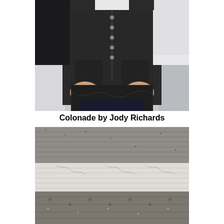[Figure (photo): Person wearing a dark gray/black button-front vest over a white long-sleeve shirt and dark pants, hands on hips, torso visible]
Colonade by Jody Richards
[Figure (photo): Close-up of a knitted garment showing textured knitting patterns in gray and white tones, three horizontal sections visible]